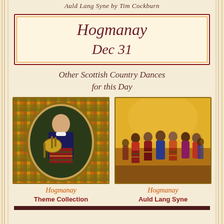Auld Lang Syne by Tim Cockburn
Hogmanay
Dec 31
Other Scottish Country Dances for this Day
[Figure (illustration): Oval portrait of a boy in tartan holding bagpipes, with decorative tartan background]
Hogmanay
Theme Collection
[Figure (illustration): Painting of Scottish country dancers in a hall, wearing tartan, dancing in a circle]
Hogmanay
Auld Lang Syne